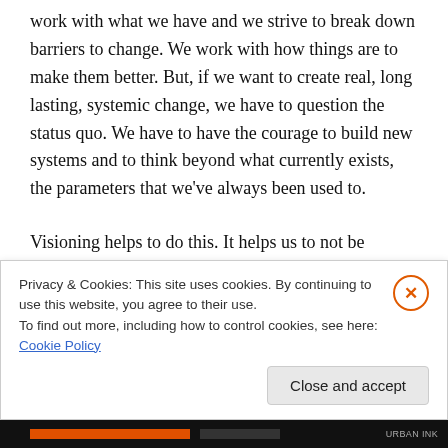work with what we have and we strive to break down barriers to change. We work with how things are to make them better. But, if we want to create real, long lasting, systemic change, we have to question the status quo. We have to have the courage to build new systems and to think beyond what currently exists, the parameters that we've always been used to.
Visioning helps to do this. It helps us to not be hampered by what is, as we dream of what could be.
In my own work, I have found visioning incredibly useful
Privacy & Cookies: This site uses cookies. By continuing to use this website, you agree to their use.
To find out more, including how to control cookies, see here: Cookie Policy
Close and accept